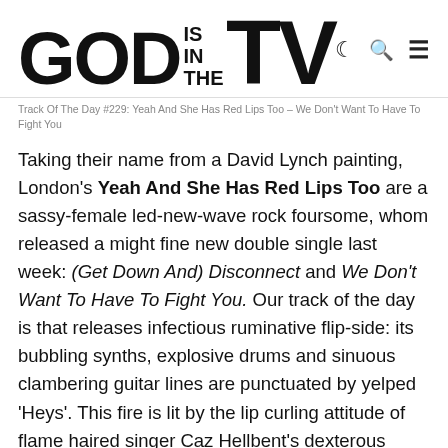GOD IS IN THE TV
Track Of The Day #229: Yeah And She Has Red Lips Too – We Don't Want To Have To Fight You
Taking their name from a David Lynch painting, London's Yeah And She Has Red Lips Too are a sassy-female led-new-wave rock foursome, whom released a might fine new double single last week: (Get Down And) Disconnect and We Don't Want To Have To Fight You. Our track of the day is that releases infectious ruminative flip-side: its bubbling synths, explosive drums and sinuous clambering guitar lines are punctuated by yelped 'Heys'. This fire is lit by the lip curling attitude of flame haired singer Caz Hellbent's dexterous vocal performance: her refrains are at one moment spat out then knowingly sung like there's nothing left to lose reminiscent of the attitude